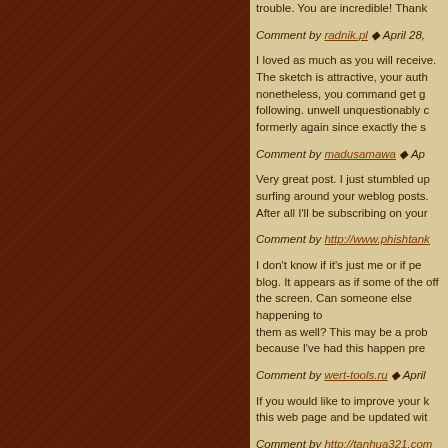trouble. You are incredible! Thank
Comment by radnik.pl ◆ April 28,
I loved as much as you will receive. The sketch is attractive, your auth nonetheless, you command get g following. unwell unquestionably c formerly again since exactly the s
Comment by madusamawa ◆ Ap
Very great post. I just stumbled up surfing around your weblog posts. After all I'll be subscribing on your
Comment by http://www.phishtank
I don't know if it's just me or if pe blog. It appears as if some of the off the screen. Can someone else happening to them as well? This may be a prob because I've had this happen pre
Comment by wert-tools.ru ◆ April
If you would like to improve your k this web page and be updated wit
Comment by http://tanhua321.com @ 11:21 pm
This article will help the internet v new weblog or even a weblog from